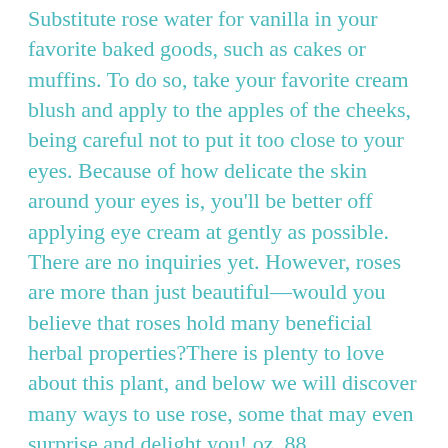Substitute rose water for vanilla in your favorite baked goods, such as cakes or muffins. To do so, take your favorite cream blush and apply to the apples of the cheeks, being careful not to put it too close to your eyes. Because of how delicate the skin around your eyes is, you'll be better off applying eye cream at gently as possible. There are no inquiries yet. However, roses are more than just beautiful—would you believe that roses hold many beneficial herbal properties?There is plenty to love about this plant, and below we will discover many ways to use rose, some that may even surprise and delight you! oz. 88 ($0.74/Ounce) FREE Shipping on your first order shipped by Amazon. Only £34.50 when box-free. What Else You Should Know: Clarins is committed to Responsible Beauty. Recipe by heatherloves2cook. It doesn't come cheap, but its legions of fans suggest results that justify the price tag. 4. Read More. 5 Uses